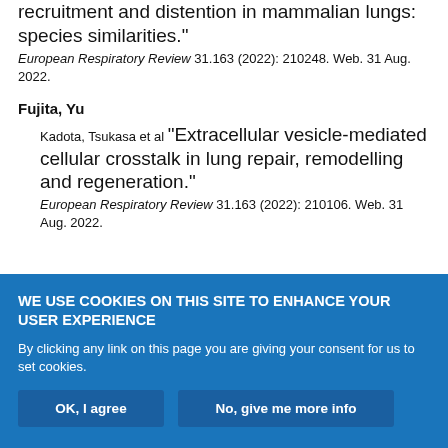recruitment and distention in mammalian lungs: species similarities." European Respiratory Review 31.163 (2022): 210248. Web. 31 Aug. 2022.
Fujita, Yu
Kadota, Tsukasa et al "Extracellular vesicle-mediated cellular crosstalk in lung repair, remodelling and regeneration." European Respiratory Review 31.163 (2022): 210106. Web. 31 Aug. 2022.
WE USE COOKIES ON THIS SITE TO ENHANCE YOUR USER EXPERIENCE
By clicking any link on this page you are giving your consent for us to set cookies.
OK, I agree
No, give me more info